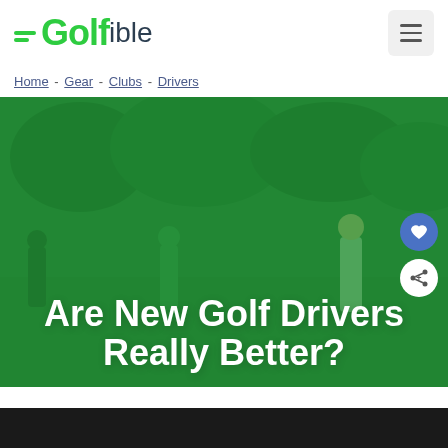[Figure (logo): =Golfible logo with green lines and text]
Home - Gear - Clubs - Drivers
[Figure (photo): Hero image of golfers on a course with green overlay. Title text reads 'Are New Golf Drivers Really Better?'. Heart and share action buttons visible.]